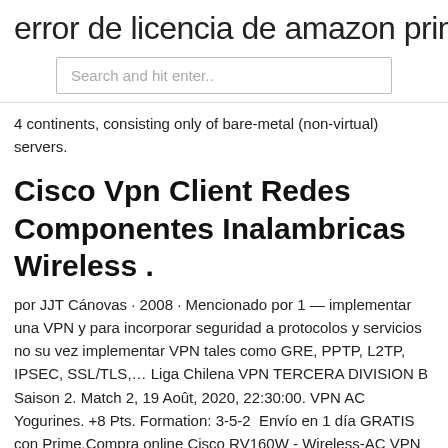error de licencia de amazon prime
[Figure (screenshot): Search bar with placeholder text 'Search and hit enter..']
4 continents, consisting only of bare-metal (non-virtual) servers.
Cisco Vpn Client Redes Componentes Inalambricas Wireless .
por JJT Cánovas · 2008 · Mencionado por 1 — implementar una VPN y para incorporar seguridad a protocolos y servicios no su vez implementar VPN tales como GRE, PPTP, L2TP, IPSEC, SSL/TLS,… Liga Chilena VPN TERCERA DIVISION B Saison 2. Match 2, 19 Août, 2020, 22:30:00. VPN AC Yogurines. +8 Pts. Formation: 3-5-2  Envío en 1 día GRATIS con Prime,Compra online Cisco RV160W - Wireless-AC VPN Router. CISCO RV160W WIRELESS-AC VPN ROUTER. SIN COSTO DE ENVÍO (Producto Marketplace exclusivo compra en línea). SKU: 1650R92.